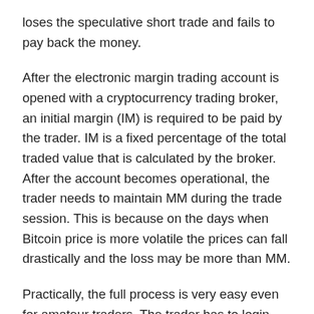loses the speculative short trade and fails to pay back the money.
After the electronic margin trading account is opened with a cryptocurrency trading broker, an initial margin (IM) is required to be paid by the trader. IM is a fixed percentage of the total traded value that is calculated by the broker. After the account becomes operational, the trader needs to maintain MM during the trade session. This is because on the days when Bitcoin price is more volatile the prices can fall drastically and the loss may be more than MM.
Practically, the full process is very easy even for amateur traders. The trader has to login into the electronic trading platform, borrow funds from the broker, and take short positions in the cryptocurrency market. During the session, the trader must close the position and book profit or loss.